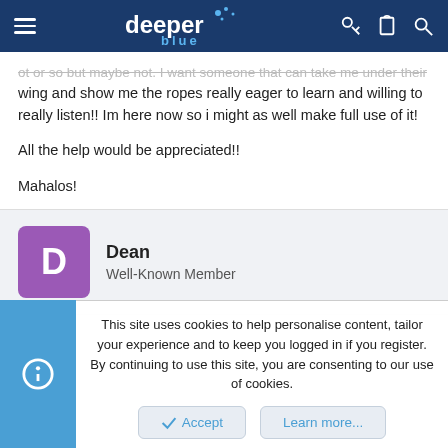deeper blue
...or so but maybe not. I want someone that can take me under their wing and show me the ropes really eager to learn and willing to really listen!! Im here now so i might as well make full use of it!
All the help would be appreciated!!
Mahalos!
Dean
Well-Known Member
This site uses cookies to help personalise content, tailor your experience and to keep you logged in if you register.
By continuing to use this site, you are consenting to our use of cookies.